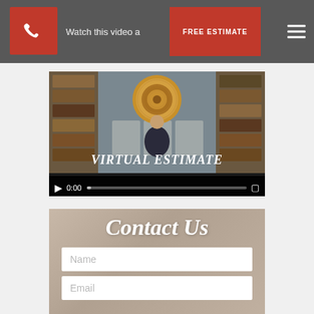Watch this video and get your quote today!
[Figure (screenshot): Video thumbnail showing a man in a flooring store showroom with wood displays on both sides. Text overlay reads 'VIRTUAL ESTIMATE' in white italic bold font. Video controls show 0:00 timestamp and a progress bar at the bottom.]
Contact Us
Name
Email